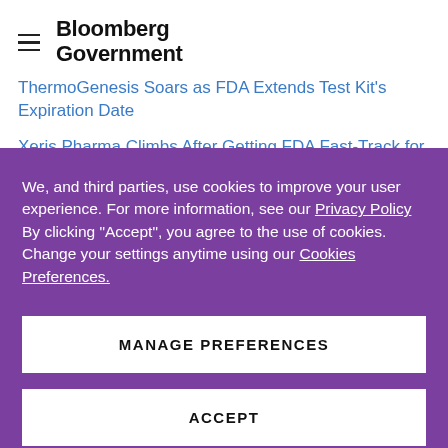Bloomberg Government
ThermoGenesis Soars as FDA Extends Test Kit's Expiration Date
Xeris Pharma Climbs After Getting FDA Fast-Track for
We, and third parties, use cookies to improve your user experience. For more information, see our Privacy Policy By clicking "Accept", you agree to the use of cookies. Change your settings anytime using our Cookies Preferences.
MANAGE PREFERENCES
ACCEPT